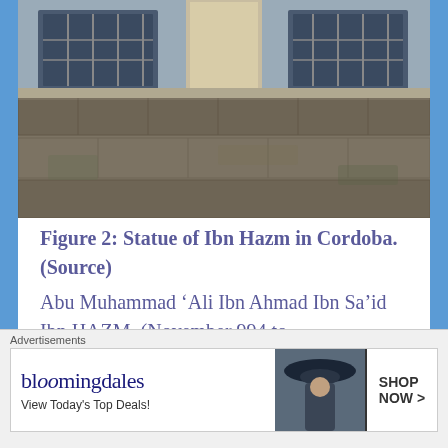[Figure (photo): Photograph of a stone wall with barred windows and a stone pillar/monument, the statue or base of Ibn Hazm in Cordoba]
Figure 2: Statue of Ibn Hazm in Cordoba. (Source)
Abu Muhammad ‘Ali Ibn Ahmad Ibn Sa’id Ibn HAZM, (November 994 to
Advertisements
[Figure (other): Bloomingdale's advertisement banner: 'View Today's Top Deals!' with SHOP NOW > button and model photo]